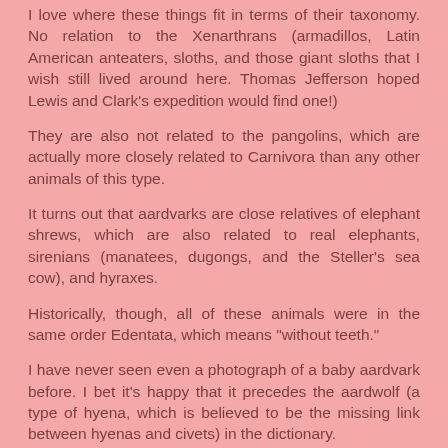I love where these things fit in terms of their taxonomy. No relation to the Xenarthrans (armadillos, Latin American anteaters, sloths, and those giant sloths that I wish still lived around here. Thomas Jefferson hoped Lewis and Clark's expedition would find one!)
They are also not related to the pangolins, which are actually more closely related to Carnivora than any other animals of this type.
It turns out that aardvarks are close relatives of elephant shrews, which are also related to real elephants, sirenians (manatees, dugongs, and the Steller's sea cow), and hyraxes.
Historically, though, all of these animals were in the same order Edentata, which means "without teeth."
I have never seen even a photograph of a baby aardvark before. I bet it's happy that it precedes the aardwolf (a type of hyena, which is believed to be the missing link between hyenas and civets) in the dictionary.